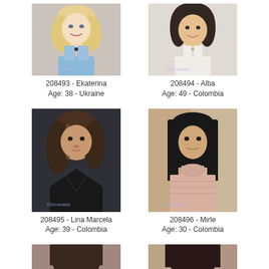[Figure (photo): Profile photo of Ekaterina, blonde woman in blue top]
208493 - Ekaterina
Age: 38 - Ukraine
[Figure (photo): Profile photo of Alba, woman in white top]
208494 - Alba
Age: 49 - Colombia
[Figure (photo): Profile photo of Lina Marcela, woman with dark hair in black top]
208495 - Lina Marcela
Age: 39 - Colombia
[Figure (photo): Profile photo of Mirle, woman with long black hair in pink top]
208496 - Mirle
Age: 30 - Colombia
[Figure (photo): Partial/cropped profile photo, person with dark hair]
[Figure (photo): Partial/cropped profile photo, person with dark hair]